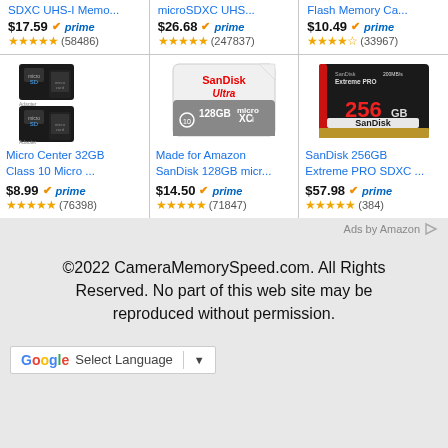SDXC UHS-I Memo...
microSDXC UHS...
Flash Memory Ca...
$17.59 prime (58486)
$26.68 prime (247837)
$10.49 prime (33967)
[Figure (photo): Micro Center 32GB Class 10 microSD cards with adapters]
[Figure (photo): SanDisk Ultra 128GB microSDXC card]
[Figure (photo): SanDisk Extreme PRO 256GB SDXC card]
Micro Center 32GB Class 10 Micro ...
Made for Amazon SanDisk 128GB micr...
SanDisk 256GB Extreme PRO SDXC ...
$8.99 prime (76398)
$14.50 prime (71847)
$57.98 prime (384)
Ads by Amazon
©2022 CameraMemorySpeed.com. All Rights Reserved. No part of this web site may be reproduced without permission.
Select Language